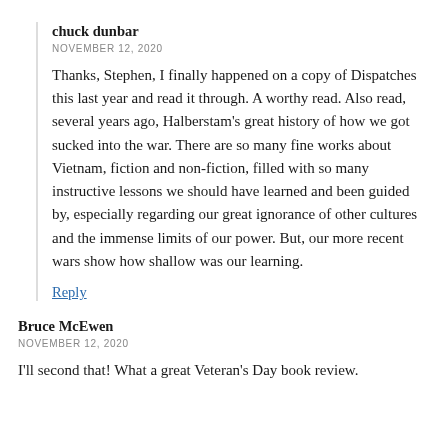chuck dunbar
NOVEMBER 12, 2020
Thanks, Stephen, I finally happened on a copy of Dispatches this last year and read it through. A worthy read. Also read, several years ago, Halberstam's great history of how we got sucked into the war. There are so many fine works about Vietnam, fiction and non-fiction, filled with so many instructive lessons we should have learned and been guided by, especially regarding our great ignorance of other cultures and the immense limits of our power. But, our more recent wars show how shallow was our learning.
Reply
Bruce McEwen
NOVEMBER 12, 2020
I'll second that! What a great Veteran's Day book review.